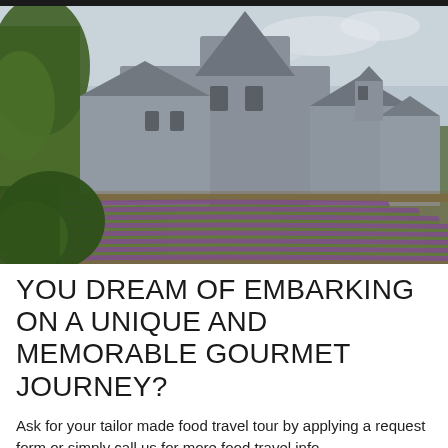[Figure (photo): Photograph of a historic stone abbey or monastery with a round tower and peaked roofs, surrounded by trees. In the foreground are rows of purple lavender fields stretching toward the building.]
YOU DREAM OF EMBARKING ON A UNIQUE AND MEMORABLE GOURMET JOURNEY?
Ask for your tailor made food travel tour by applying a request form or simply call us for more food travel info